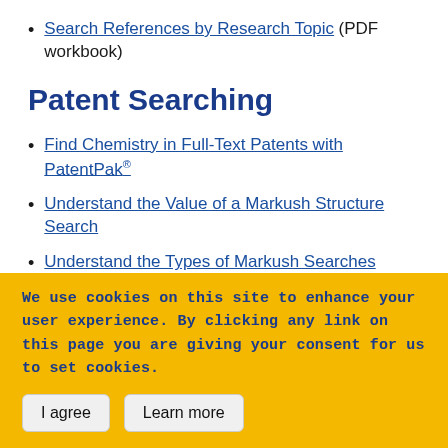Search References by Research Topic (PDF workbook)
Patent Searching
Find Chemistry in Full-Text Patents with PatentPak®
Understand the Value of a Markush Structure Search
Understand the Types of Markush Searches
Learn Why Patent Titles Can Appear Multiple Times
We use cookies on this site to enhance your user experience. By clicking any link on this page you are giving your consent for us to set cookies.